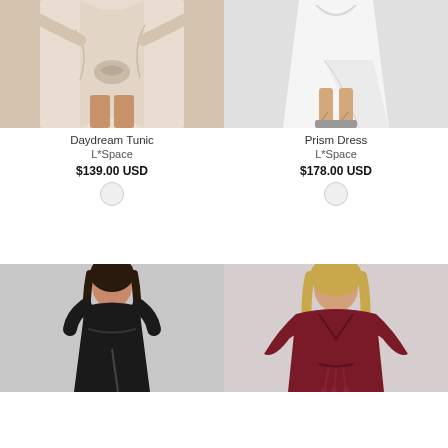[Figure (photo): Daydream Tunic by L*Space - beige/cream wrap tunic top, close-up product photo]
Daydream Tunic
L*Space
$139.00 USD
[Figure (photo): Prism Dress by L*Space - white asymmetric wrap dress, model showing legs and sandals]
Prism Dress
L*Space
$178.00 USD
[Figure (photo): Black wrap maxi dress with short sleeves and front slit, model full length]
[Figure (photo): Dark red/burgundy long-sleeve wrap top with tassel tie, model cropped]